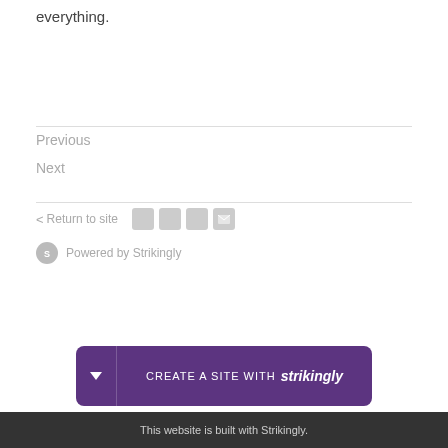everything.
Previous
Next
< Return to site
Powered by Strikingly
[Figure (infographic): Purple banner with dropdown arrow, text 'CREATE A SITE WITH strikingly']
This website is built with Strikingly.